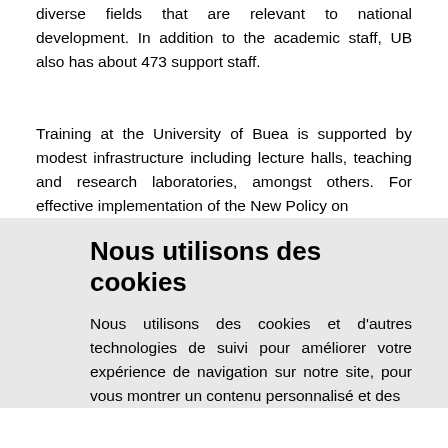diverse fields that are relevant to national development. In addition to the academic staff, UB also has about 473 support staff.
Training at the University of Buea is supported by modest infrastructure including lecture halls, teaching and research laboratories, amongst others. For effective implementation of the New Policy on
Nous utilisons des cookies
Nous utilisons des cookies et d'autres technologies de suivi pour améliorer votre expérience de navigation sur notre site, pour vous montrer un contenu personnalisé et des